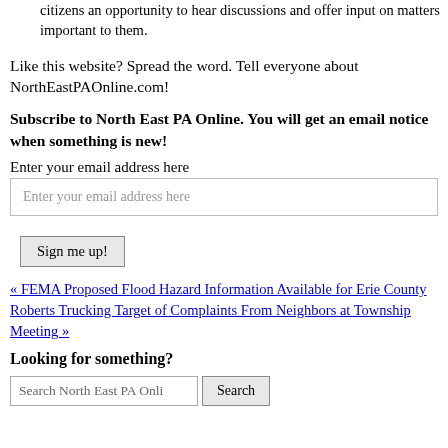citizens an opportunity to hear discussions and offer input on matters important to them.
Like this website? Spread the word. Tell everyone about NorthEastPAOnline.com!
Subscribe to North East PA Online. You will get an email notice when something is new!
Enter your email address here
Enter your email address here
Sign me up!
« FEMA Proposed Flood Hazard Information Available for Erie County
Roberts Trucking Target of Complaints From Neighbors at Township Meeting »
Looking for something?
Search North East PA Onli   Search